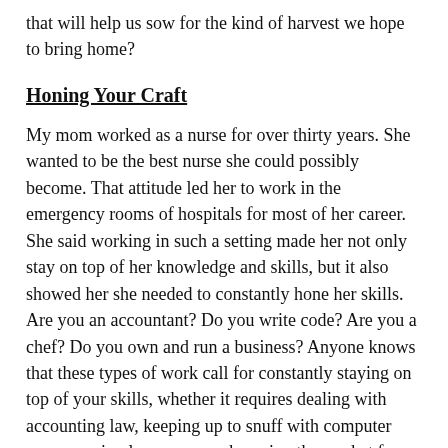that will help us sow for the kind of harvest we hope to bring home?
Honing Your Craft
My mom worked as a nurse for over thirty years. She wanted to be the best nurse she could possibly become. That attitude led her to work in the emergency rooms of hospitals for most of her career. She said working in such a setting made her not only stay on top of her knowledge and skills, but it also showed her she needed to constantly hone her skills. Are you an accountant? Do you write code? Are you a chef? Do you own and run a business? Anyone knows that these types of work call for constantly staying on top of your skills, whether it requires dealing with accounting law, keeping up to snuff with computer programming languages, or knowing the market for a particular business. In fact honing one’s skills is requirement for a good work ethic for any type of work. Musicians, painters, writers, and other types of artists know this all too well. And it is true for any work we